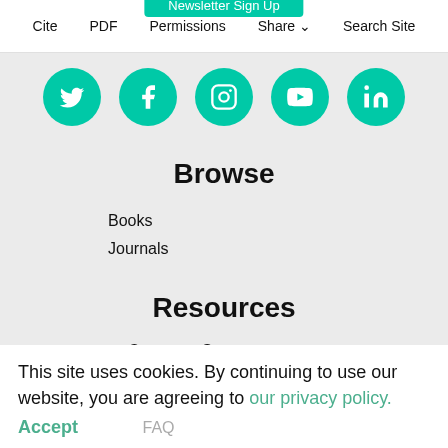Newsletter Sign Up
Cite   PDF   Permissions   Share   Search Site
[Figure (illustration): Row of five circular green social media icons: Twitter, Facebook, Instagram, YouTube, LinkedIn]
Browse
Books
Journals
Resources
Customer Support
Direct to Open
For Authors
This site uses cookies. By continuing to use our website, you are agreeing to our privacy policy.
Accept
FAQ